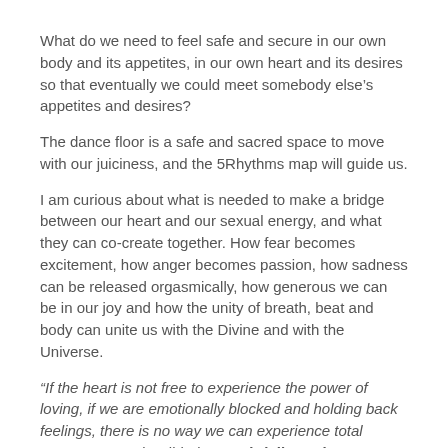What do we need to feel safe and secure in our own body and its appetites, in our own heart and its desires so that eventually we could meet somebody else’s appetites and desires?
The dance floor is a safe and sacred space to move with our juiciness, and the 5Rhythms map will guide us.
I am curious about what is needed to make a bridge between our heart and our sexual energy, and what they can co-create together. How fear becomes excitement, how anger becomes passion, how sadness can be released orgasmically, how generous we can be in our joy and how the unity of breath, beat and body can unite us with the Divine and with the Universe.
“If the heart is not free to experience the power of loving, if we are emotionally blocked and holding back feelings, there is no way we can experience total orgasm, or total well-being.” Gabrielle Roth